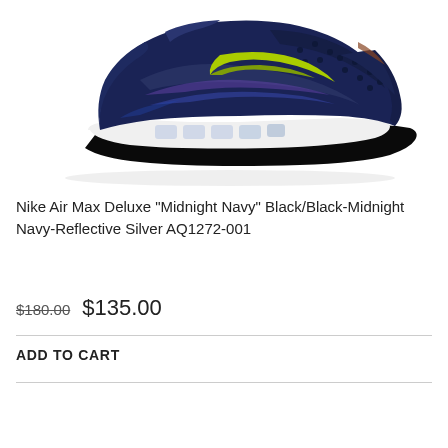[Figure (photo): Nike Air Max Deluxe sneaker in Midnight Navy colorway, side profile view on white background. The shoe features dark navy upper with iridescent/holographic wave patterns, yellow-green swoosh accent, white midsole with visible air unit windows, and black outsole.]
Nike Air Max Deluxe "Midnight Navy" Black/Black-Midnight Navy-Reflective Silver AQ1272-001
$180.00   $135.00
ADD TO CART